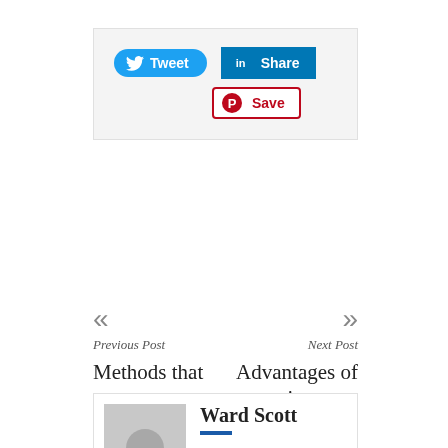[Figure (screenshot): Social sharing buttons: Tweet (Twitter), Share (LinkedIn), Save (Pinterest)]
« Previous Post — Methods that you can use to choose a suitable online baccarat site
» Next Post — Advantages of putting your money into the forex market
Ward Scott